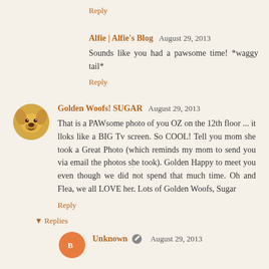Reply
Alfie | Alfie's Blog  August 29, 2013
Sounds like you had a pawsome time! *waggy tail*
Reply
Golden Woofs! SUGAR  August 29, 2013
That is a PAWsome photo of you OZ on the 12th floor ... it lloks like a BIG Tv screen. So COOL! Tell you mom she took a Great Photo (which reminds my mom to send you via email the photos she took). Golden Happy to meet you even though we did not spend that much time. Oh and Flea, we all LOVE her. Lots of Golden Woofs, Sugar
Reply
▾ Replies
Unknown  August 29, 2013